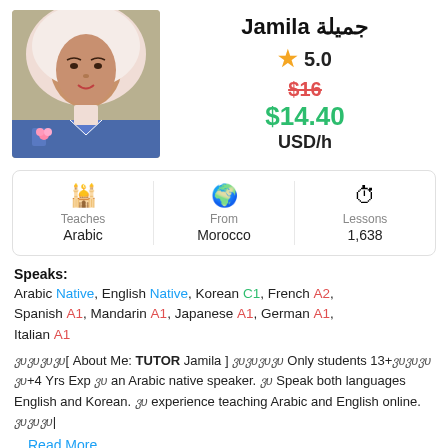Jamila جميلة
5.0
$16
$14.40
USD/h
[Figure (photo): Profile photo of tutor Jamila, a young woman wearing a light pink hijab and a blue denim jacket]
| Teaches | From | Lessons |
| --- | --- | --- |
| Arabic | Morocco | 1,638 |
Speaks:
Arabic Native, English Native, Korean C1, French A2, Spanish A1, Mandarin A1, Japanese A1, German A1, Italian A1
ვυვυვυვυ[ About Me: TUTOR Jamila ] ვυვυვυვυ Only students 13+ვυვυვυ ვυ+4 Yrs Exp ვυ an Arabic native speaker. ვυ Speak both languages English and Korean. ვυ experience teaching Arabic and English online. ვυვυვυ|
Read More